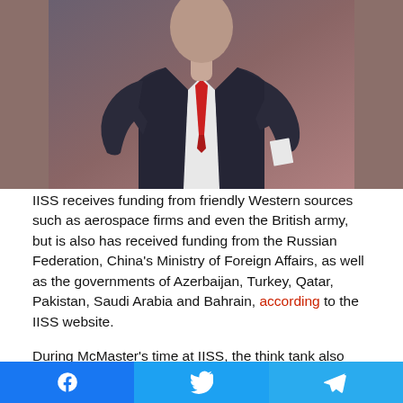[Figure (photo): Man in dark suit with red tie, standing with arms slightly extended, against a brownish-red background. Only the torso and part of the head are visible (head cropped out at top).]
IISS receives funding from friendly Western sources such as aerospace firms and even the British army, but is also has received funding from the Russian Federation, China's Ministry of Foreign Affairs, as well as the governments of Azerbaijan, Turkey, Qatar, Pakistan, Saudi Arabia and Bahrain, according to the IISS website.

During McMaster's time at IISS, the think tank also received $700,000 from George Soros's Open Society and $140,000 from Ploughshares, the pacifist organization that aggressively pushed for
[Figure (infographic): Social media share bar with three buttons: Facebook (blue, left third), Twitter (light blue, middle third), Telegram (lighter blue, right third), each with their respective icons in white.]